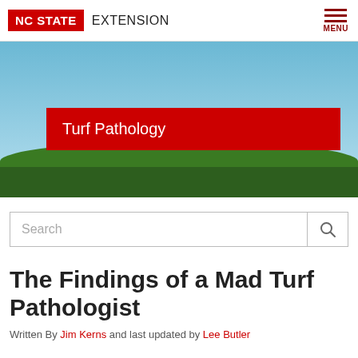NC STATE EXTENSION
[Figure (photo): Hero image of green turf/grass with blue sky background, overlaid with a red banner reading 'Turf Pathology']
Turf Pathology
Search
The Findings of a Mad Turf Pathologist
Written By Jim Kerns and last updated by Lee Butler